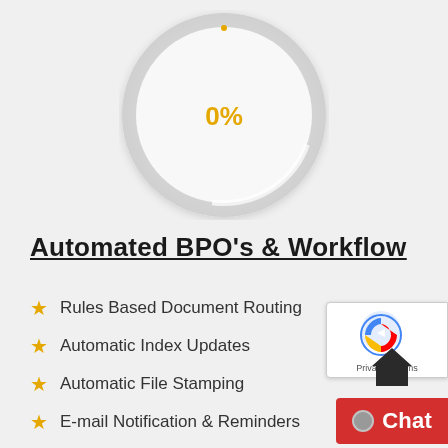[Figure (other): A circular gauge/dial showing 0% in gold/yellow text at center, with a white circular face and gray outer ring, on a light gray background. A small gold dot appears at the top of the circle.]
Automated BPO's & Workflow
Rules Based Document Routing
Automatic Index Updates
Automatic File Stamping
E-mail Notification & Reminders